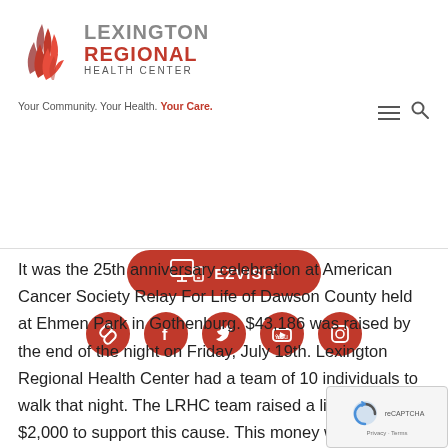[Figure (logo): Lexington Regional Health Center logo with red flame/wave icon and text 'LEXINGTON REGIONAL HEALTH CENTER']
Your Community. Your Health. Your Care.
[Figure (infographic): EZVISIT button (red pill-shaped button with device icon and text EZVISIT) and social media icons row (link, Facebook, Twitter, YouTube, Instagram) on red circles]
It was the 25th anniversary celebration at American Cancer Society Relay For Life of Dawson County held at Ehmen Park in Gothenburg. $43,186 was raised by the end of the night on Friday, July 19th. Lexington Regional Health Center had a team of 10 individuals to walk that night. The LRHC team raised a little over $2,000 to support this cause. This money was raised with having multiple